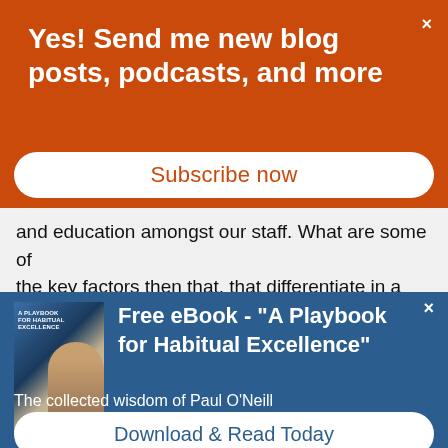Yes! Send me new blog posts, podcasts, and more
Subscribe now
and education amongst our staff. What are some of the key factors then that, that differentiate in a way
Free eBook - "A Playbook for Habitual Excellence"
[Figure (illustration): Book cover for A Playbook for Habitual Excellence showing a man in a suit and the book title text]
The collected wisdom of Paul O'Neill
Download & Read Today